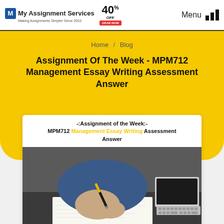My Assignment Services — Making Assignments Simpler Since 2010 | 40% OFF | Menu
Home / Blog
Assignment Of The Week - MPM712 Management Essay Writing Assessment Answer
[Figure (screenshot): Card image showing '-:Assignment of the Week:- MPM712 Management Essay Writing Assessment Answer' text above a photo of a person writing at a desk with a laptop nearby, watermarked with My Assignment Services logo]